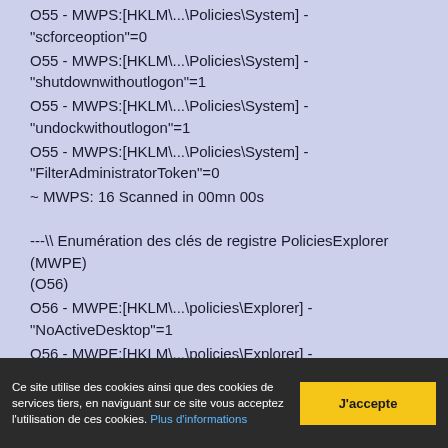O55 - MWPS:[HKLM\...\Policies\System] - "scforceoption"=0
O55 - MWPS:[HKLM\...\Policies\System] - "shutdownwithoutlogon"=1
O55 - MWPS:[HKLM\...\Policies\System] - "undockwithoutlogon"=1
O55 - MWPS:[HKLM\...\Policies\System] - "FilterAdministratorToken"=0
~ MWPS: 16 Scanned in 00mn 00s
---\\ Enumération des clés de registre PoliciesExplorer (MWPE) (O56)
O56 - MWPE:[HKLM\...\policies\Explorer] - "NoActiveDesktop"=1
O56 - MWPE:[HKLM\...\policies\Explorer] - "NoActiveDesktopChanges"=1
O56 - MWPE:[HKLM\...\policies\Explorer] - "ForceActiveDesktopOn"=0
Ce site utilise des cookies ainsi que des cookies de services tiers, en naviguant sur ce site vous acceptez l'utilisation de ces cookies. Plus d'informations
J'accepte